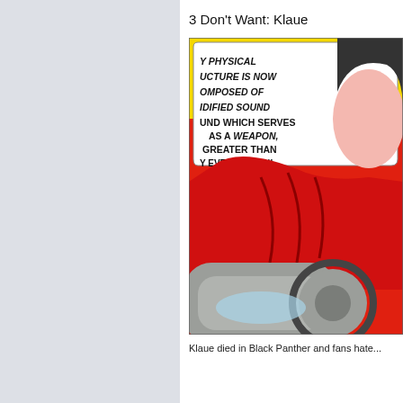3 Don't Want: Klaue
[Figure (illustration): Comic book panel showing Klaue in a red costume with a speech bubble reading: 'MY PHYSICAL STRUCTURE IS NOW COMPOSED OF SOLIDIFIED SOUND AND WHICH SERVES AS A WEAPON, GREATER THAN ANY EVER KNOWN!' The character has a mechanical weapon/device visible in the lower portion of the panel. Background is yellow and red.]
Klaue died in Black Panther and fans hate...